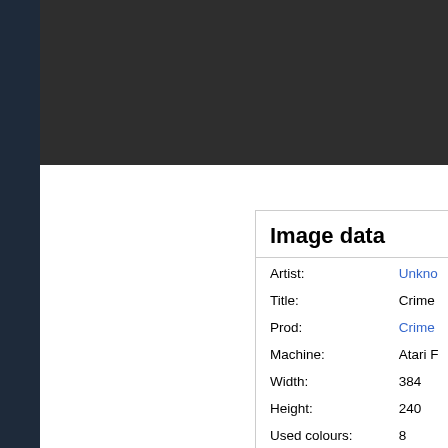[Figure (photo): Dark/black screenshot or image panel at the top right of the page]
| Artist: | Unkno… |
| Title: | Crime… |
| Prod: | Crime… |
| Machine: | Atari F… |
| Width: | 384 |
| Height: | 240 |
| Used colours: | 8 |
| Display technique: | Lowre… |